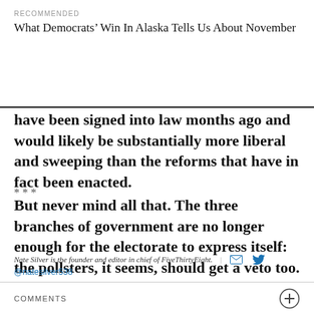RECOMMENDED
What Democrats’ Win In Alaska Tells Us About November
have been signed into law months ago and would likely be substantially more liberal and sweeping than the reforms that have in fact been enacted.
***
But never mind all that. The three branches of government are no longer enough for the electorate to express itself: the pollsters, it seems, should get a veto too.
Nate Silver is the founder and editor in chief of FiveThirtyEight. @natesilver538
COMMENTS